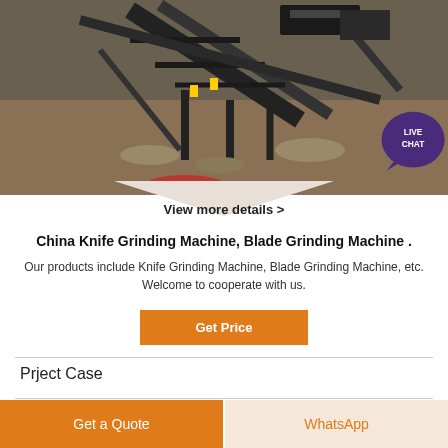[Figure (photo): Aerial view of industrial machinery / mining conveyor equipment, dark metal structures on ground. Live chat bubble overlay in top right corner.]
View more details >
China Knife Grinding Machine, Blade Grinding Machine .
Our products include Knife Grinding Machine, Blade Grinding Machine, etc. Welcome to cooperate with us.
Get Price
Prject Case
Get a Quote
WhatsApp